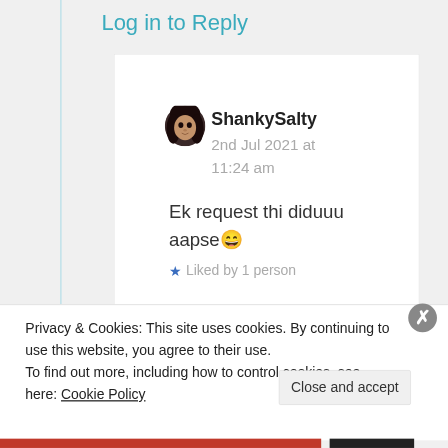Log in to Reply
[Figure (photo): Circular avatar photo of user ShankySalty, showing a person with dark hair and eyes]
ShankySalty
2nd Jul 2021 at 11:24 am
Ek request thi diduuu aapse 😄
★ Liked by 1 person
Privacy & Cookies: This site uses cookies. By continuing to use this website, you agree to their use.
To find out more, including how to control cookies, see here: Cookie Policy
Close and accept